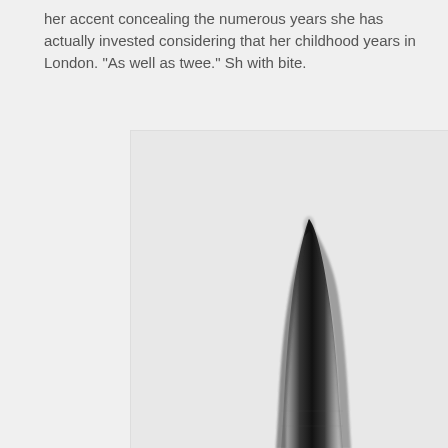her accent concealing the numerous years she has actually invested considering that her childhood years in London. "As well as twee." Sh with bite.
[Figure (photo): A tall, narrow dark spike or spire shape rising to a sharp point against a light gray background, resembling a needle or architectural spire. The shape is dark/black and appears slightly blurred at its tip.]